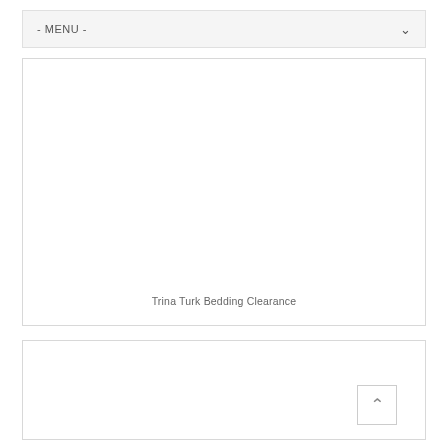- MENU -
[Figure (other): Product card placeholder image for Trina Turk Bedding Clearance]
Trina Turk Bedding Clearance
[Figure (other): Second product card placeholder image (partially visible)]